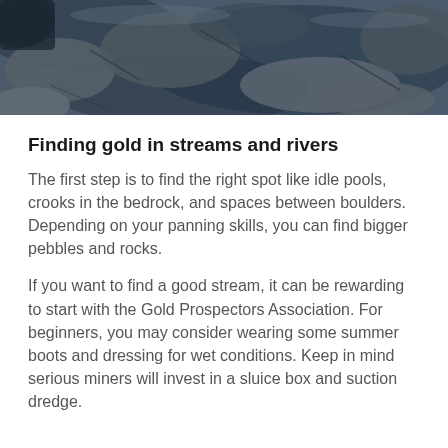[Figure (photo): Aerial or close-up view of rocky stream or riverbed with dark wet rocks and water]
Finding gold in streams and rivers
The first step is to find the right spot like idle pools, crooks in the bedrock, and spaces between boulders. Depending on your panning skills, you can find bigger pebbles and rocks.
If you want to find a good stream, it can be rewarding to start with the Gold Prospectors Association. For beginners, you may consider wearing some summer boots and dressing for wet conditions. Keep in mind serious miners will invest in a sluice box and suction dredge.